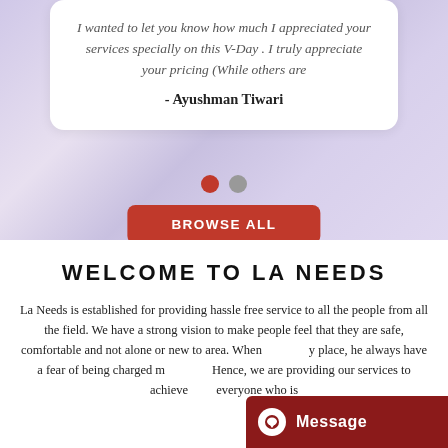I wanted to let you know how much I appreciated your services specially on this V-Day . I truly appreciate your pricing (While others are
- Ayushman Tiwari
[Figure (other): Carousel pagination dots: one red (active) and one gray (inactive)]
[Figure (other): Red rounded button labeled BROWSE ALL]
WELCOME TO LA NEEDS
La Needs is established for providing hassle free service to all the people from all the field. We have a strong vision to make people feel that they are safe, comfortable and not alone or new to area. When a person moves to a new place, he always have a fear of being charged more than actual charges. Hence, we are providing our services to achieve the goal that everyone who is
[Figure (other): Dark red Message button with chat icon in bottom right corner]